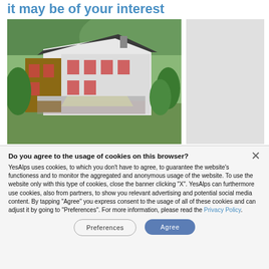it may be of your interest
[Figure (photo): Aerial/angled view of an alpine chalet-style house with red shutters, balconies, and green surroundings]
Do you agree to the usage of cookies on this browser? YesAlps uses cookies, to which you don't have to agree, to guarantee the website's functioness and to monitor the aggregated and anonymous usage of the website. To use the website only with this type of cookies, close the banner clicking "X". YesAlps can furthermore use cookies, also from partners, to show you relevant advertising and potential social media content. By tapping "Agree" you express consent to the usage of all of these cookies and can adjust it by going to "Preferences". For more information, please read the Privacy Policy.
Preferences
Agree